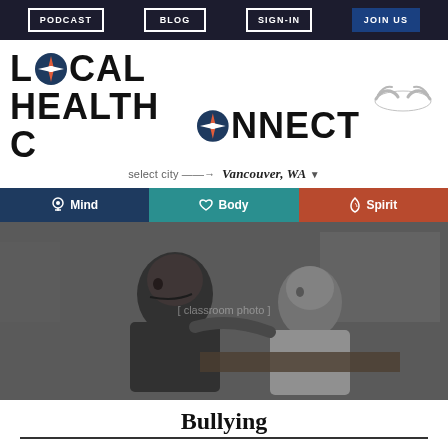PODCAST | BLOG | SIGN-IN | JOIN US
LOCAL HEALTH CONNECT
select city → Vancouver, WA
Mind  Body  Spirit
[Figure (photo): Black and white photograph of two young boys in a classroom, one leaning over looking at the other's work, suggesting a bullying scenario]
Bullying
Why this resource is helpful: